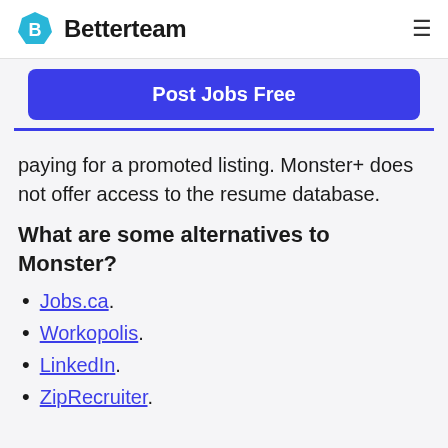Betterteam
Post Jobs Free
paying for a promoted listing. Monster+ does not offer access to the resume database.
What are some alternatives to Monster?
Jobs.ca.
Workopolis.
LinkedIn.
ZipRecruiter.